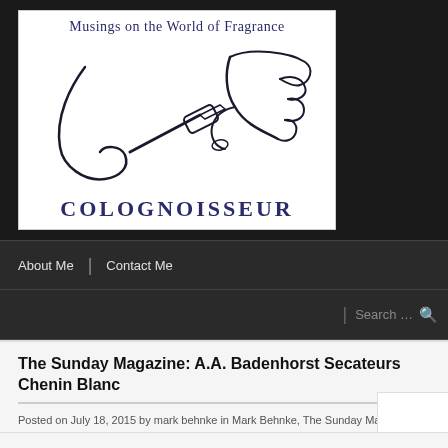[Figure (logo): Colognoisseur blog logo showing a hand holding a perfume vial toward a nose, with tagline 'Musings on the World of Fragrance' and site name 'COLOGNOISSEUR']
About Me | Contact Me
Search …
The Sunday Magazine: A.A. Badenhorst Secateurs Chenin Blanc
Posted on July 18, 2015 by mark behnke in Mark Behnke, The Sunday Magazine and tagged A.A. Badenhorst Secateurs Chenin Blanc, adi badenhorst, leftside1.